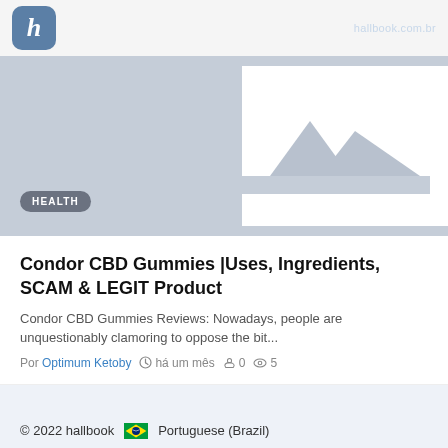h  hallbook.com.br
[Figure (illustration): Gray placeholder hero image with mountain/image icon in white box, health badge overlay]
Condor CBD Gummies |Uses, Ingredients, SCAM & LEGIT Product
Condor CBD Gummies Reviews: Nowadays, people are unquestionably clamoring to oppose the bit...
Por Optimum Ketoby  há um mês  0  5
© 2022 hallbook   Portuguese (Brazil)  Termos  Privacidade  (PPH)  Fale conosco  Diretório